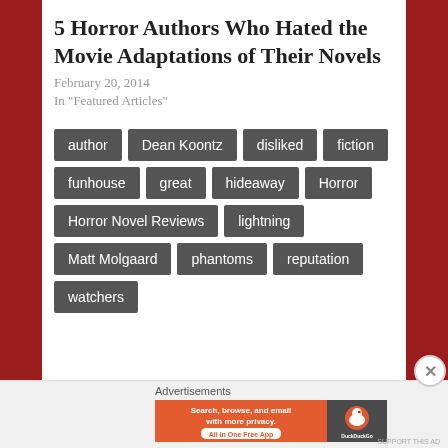5 Horror Authors Who Hated the Movie Adaptations of Their Novels
February 20, 2014
In "Featured Articles"
author
Dean Koontz
disliked
fiction
funhouse
great
hideaway
Horror
Horror Novel Reviews
lightning
Matt Molgaard
phantoms
reputation
watchers
Advertisements
[Figure (screenshot): DuckDuckGo advertisement banner: 'Search, browse, and email with more privacy. All in One Free App' with DuckDuckGo logo on orange background.]